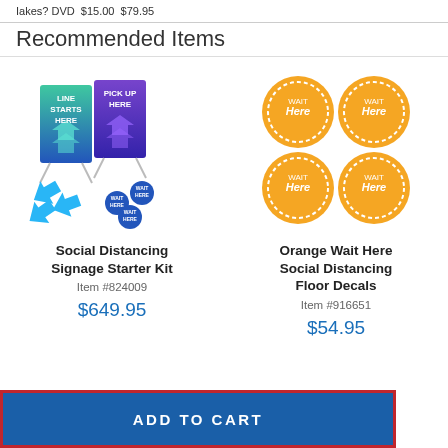Takes? DVD $15.00 $79.95
Recommended Items
[Figure (photo): Social Distancing Signage Starter Kit product image showing two A-frame signs labeled LINE STARTS HERE and PICK UP HERE, with blue directional arrows and small WAIT HERE floor decals]
[Figure (photo): Four orange circular Wait Here Social Distancing Floor Decals arranged in a 2x2 grid]
Social Distancing Signage Starter Kit
Item #824009
$649.95
Orange Wait Here Social Distancing Floor Decals
Item #916651
$54.95
ADD TO CART